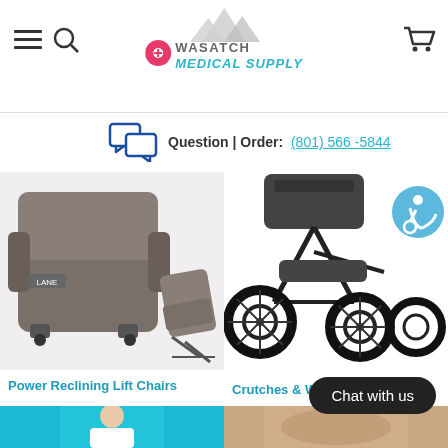[Figure (logo): Wasatch Medical Supply logo with mountain graphic and map pin icon]
Question | Order: (801) 566-5844
[Figure (photo): Power reclining lift chair shown in two positions]
[Figure (photo): Knee scooter / all-terrain walking aid with wheelchair accessibility icon]
Power Reclining Lift Chairs
Crutches & Walking Aids
[Figure (photo): Woman wearing white top with turquoise product]
[Figure (photo): Person wearing compression socks or leg product]
Chat with us